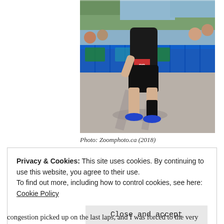[Figure (photo): A triathlete running during a race, wearing black compression shorts and a black tri-suit top with race number bib, blue running shoes. Blue barrier fencing with triathlon sponsor logos visible in background. Spectators watching. Sunny day, shadows on pavement.]
Photo: Zoomphoto.ca (2018)
Privacy & Cookies: This site uses cookies. By continuing to use this website, you agree to their use.
To find out more, including how to control cookies, see here: Cookie Policy
Close and accept
congestion picked up on the last laps, and I was forced to the very